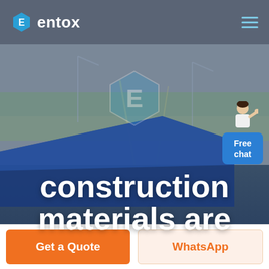[Figure (logo): Entox company logo: hexagon icon with letter E and 'entox' wordmark in white on dark gray header bar]
[Figure (photo): Aerial photograph of a construction site with blue roof structures and flat terrain, with Entox hexagon logo overlay and a customer service agent figure with 'Free chat' button in top right]
construction materials are
Get a Quote
WhatsApp